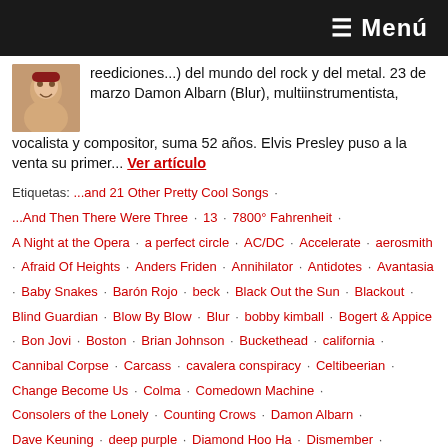≡ Menú
reediciones...) del mundo del rock y del metal. 23 de marzo Damon Albarn (Blur), multiinstrumentista, vocalista y compositor, suma 52 años. Elvis Presley puso a la venta su primer... Ver artículo
Etiquetas: ...and 21 Other Pretty Cool Songs · ...And Then There Were Three · 13 · 7800° Fahrenheit · A Night at the Opera · a perfect circle · AC/DC · Accelerate · aerosmith · Afraid Of Heights · Anders Friden · Annihilator · Antidotes · Avantasia · Baby Snakes · Barón Rojo · beck · Black Out the Sun · Blackout · Blind Guardian · Blow By Blow · Blur · bobby kimball · Bogert & Appice · Bon Jovi · Boston · Brian Johnson · Buckethead · california · Cannibal Corpse · Carcass · cavalera conspiracy · Celtibeerian · Change Become Us · Colma · Comedown Machine · Consolers of the Lonely · Counting Crows · Damon Albarn · Dave Keuning · deep purple · Diamond Hoo Ha · Dismember · Double Live Annihilation · Dougie Thomson · down